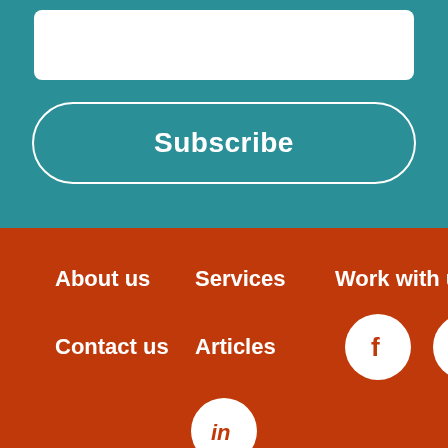[Figure (screenshot): White input box on teal background]
Subscribe
About us
Services
Work with us
Contact us
Articles
[Figure (logo): Facebook icon circle]
[Figure (logo): Twitter icon circle]
[Figure (logo): LinkedIn icon circle]